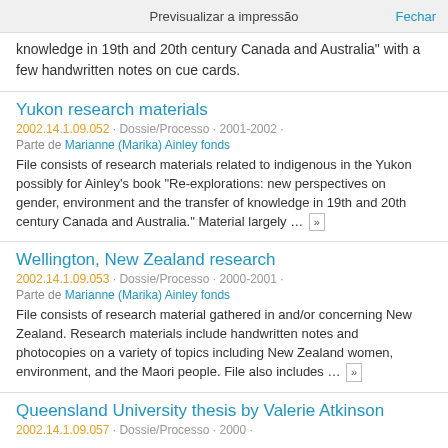Previsualizar a impressão   Fechar
knowledge in 19th and 20th century Canada and Australia" with a few handwritten notes on cue cards.
Yukon research materials
2002.14.1.09.052 · Dossie/Processo · 2001-2002 · Parte de Marianne (Marika) Ainley fonds
File consists of research materials related to indigenous in the Yukon possibly for Ainley's book "Re-explorations: new perspectives on gender, environment and the transfer of knowledge in 19th and 20th century Canada and Australia." Material largely … »
Wellington, New Zealand research
2002.14.1.09.053 · Dossie/Processo · 2000-2001 · Parte de Marianne (Marika) Ainley fonds
File consists of research material gathered in and/or concerning New Zealand. Research materials include handwritten notes and photocopies on a variety of topics including New Zealand women, environment, and the Maori people. File also includes … »
Queensland University thesis by Valerie Atkinson
2002.14.1.09.057 · Dossie/Processo · 2000 ·